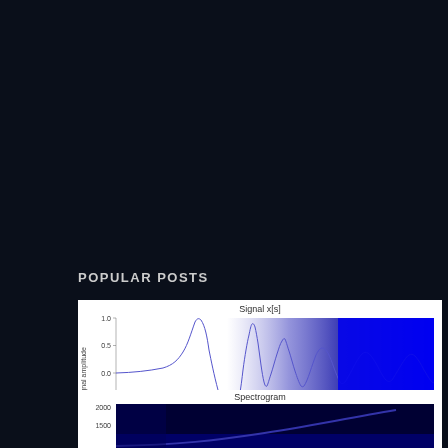POPULAR POSTS
[Figure (continuous-plot): Time-domain signal plot titled 'Signal x[s]' showing a chirp signal. Y-axis labeled 'Signal amplitude' ranging from -1.0 to 1.0 with ticks at -0.5, 0.0, 0.5, 1.0. X-axis labeled 'Time (s)' ranging from 0.0 to 1.0. The signal starts near zero, rises to a smooth sinusoidal peak around t=0.25, then transitions to an increasingly high-frequency oscillation (chirp) that becomes a dense blue filled region by t=0.5 onward.]
[Figure (continuous-plot): Spectrogram plot titled 'Spectrogram'. Y-axis showing frequency in Hz with labels 2000, 1500. The spectrogram shows frequency content increasing over time, displayed in blue tones on a dark background, consistent with the chirp signal above.]